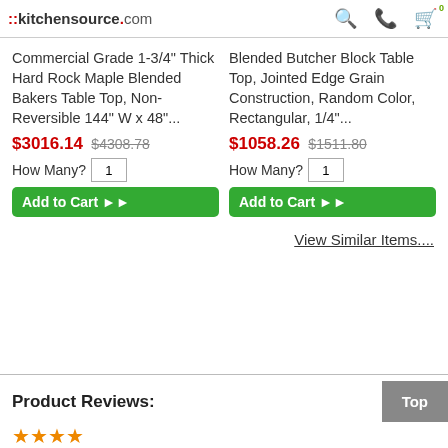::kitchensource.com
Commercial Grade 1-3/4" Thick Hard Rock Maple Blended Bakers Table Top, Non-Reversible 144" W x 48"...
$3016.14 $4308.78
How Many? 1  Add to Cart ►►
Blended Butcher Block Table Top, Jointed Edge Grain Construction, Random Color, Rectangular, 1/4"...
$1058.26 $1511.80
How Many? 1  Add to Cart ►►
View Similar Items....
Product Reviews:
Top